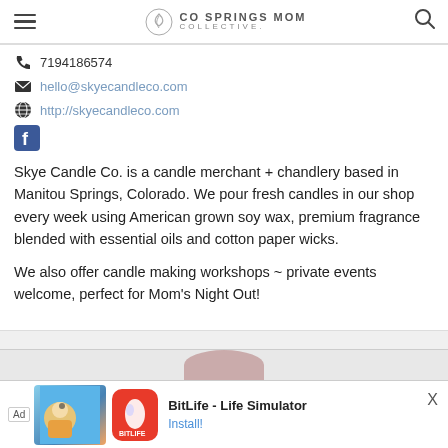CO SPRINGS MOM COLLECTIVE.
7194186574
hello@skyecandleco.com
http://skyecandleco.com
[Figure (logo): Facebook icon blue square with f]
Skye Candle Co. is a candle merchant + chandlery based in Manitou Springs, Colorado. We pour fresh candles in our shop every week using American grown soy wax, premium fragrance blended with essential oils and cotton paper wicks.
We also offer candle making workshops ~ private events welcome, perfect for Mom's Night Out!
[Figure (screenshot): Ad banner for BitLife - Life Simulator with Install button]